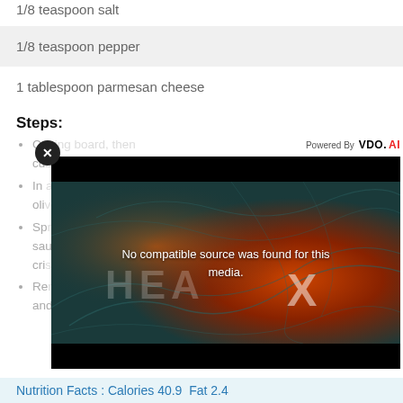1/8 teaspoon salt
1/8 teaspoon pepper
1 tablespoon parmesan cheese
Steps:
Cut...cut...
In...oliv...
Sp...sau...cris...
Re...and...
[Figure (screenshot): Video player overlay showing 'No compatible source was found for this media.' with a dark background featuring teal/orange heat-map style contour graphics and HEA X text watermark. Powered By VDO.AI branding shown.]
Nutrition Facts : Calories 40.9  Fat 2.4